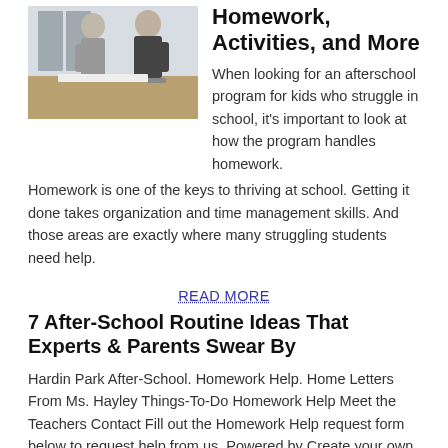[Figure (photo): Two people, one younger in a grey hoodie and one older in a dark jacket, standing at a table working on something in what appears to be a classroom or workshop setting.]
Homework, Activities, and More
When looking for an afterschool program for kids who struggle in school, it's important to look at how the program handles homework. Homework is one of the keys to thriving at school. Getting it done takes organization and time management skills. And those areas are exactly where many struggling students need help.
READ MORE
7 After-School Routine Ideas That Experts & Parents Swear By
Hardin Park After-School. Homework Help. Home Letters From Ms. Hayley Things-To-Do Homework Help Meet the Teachers Contact Fill out the Homework Help request form below to request help from us. Powered by Create your own unique website with customizable